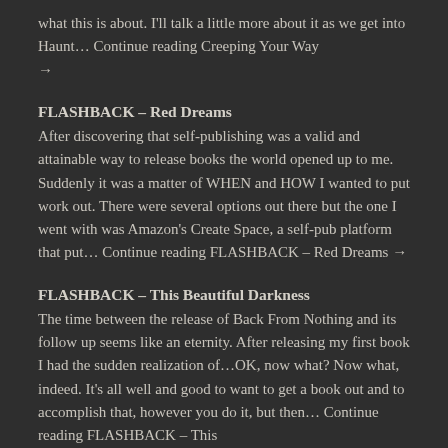what this is about. I'll talk a little more about it as we get into Haunt… Continue reading Creeping Your Way →
FLASHBACK – Red Dreams
After discovering that self-publishing was a valid and attainable way to release books the world opened up to me. Suddenly it was a matter of WHEN and HOW I wanted to put work out. There were several options out there but the one I went with was Amazon's Create Space, a self-pub platform that put… Continue reading FLASHBACK – Red Dreams →
FLASHBACK – This Beautiful Darkness
The time between the release of Back From Nothing and its follow up seems like an eternity. After releasing my first book I had the sudden realization of…OK, now what? Now what, indeed. It's all well and good to want to get a book out and to accomplish that, however you do it, but then… Continue reading FLASHBACK – This